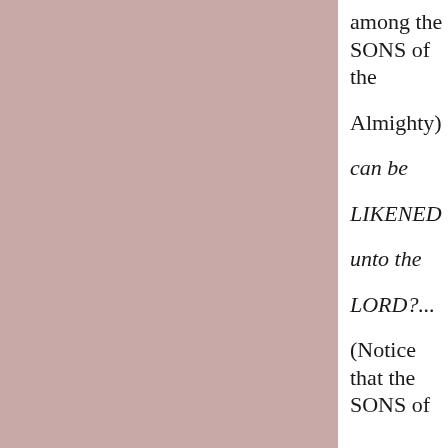[Figure (illustration): Large dusty rose/mauve pink rectangular block occupying the left portion of the page]
among the SONS of the Almighty) can be LIKENED unto the LORD?... (Notice that the SONS of